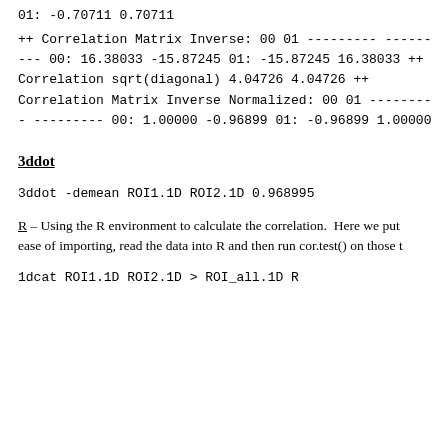01: -0.70711 0.70711
++ Correlation Matrix Inverse:
00 01
--------- ---------
00: 16.38033 -15.87245
01: -15.87245 16.38033
++ Correlation sqrt(diagonal)
4.04726 4.04726
++ Correlation Matrix Inverse Normalized:
00 01
--------- ---------
00: 1.00000 -0.96899
01: -0.96899 1.00000
3ddot
3ddot -demean ROI1.1D ROI2.1D
0.968995
R – Using the R environment to calculate the correlation.  Here we put ease of importing, read the data into R and then run cor.test() on those t
1dcat ROI1.1D ROI2.1D > ROI_all.1D
R